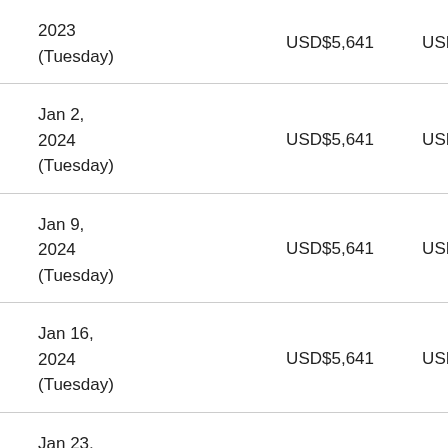| Date | Amount 1 | Amount 2 |
| --- | --- | --- |
| 2023
(Tuesday) | USD$5,641 | USD$6,905 |
| Jan 2,
2024
(Tuesday) | USD$5,641 | USD$6,905 |
| Jan 9,
2024
(Tuesday) | USD$5,641 | USD$6,905 |
| Jan 16,
2024
(Tuesday) | USD$5,641 | USD$6,905 |
| Jan 23,
2024
(Tuesday) | USD$5,641 | USD$6,905 |